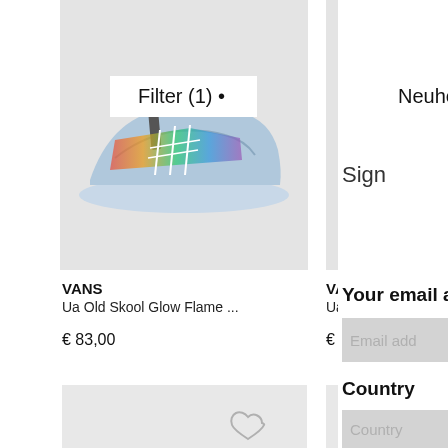[Figure (screenshot): Product card for Vans Ua Old Skool Glow Flame sneaker on grey background]
Filter (1) •
[Figure (screenshot): Product card for Vans Ua Sk8-hi Mte sneaker on grey background]
Neuheit
VANS
Ua Old Skool Glow Flame ...
€ 83,00
VANS
Ua Sk8-hi Mte-
€ 119,00
[Figure (screenshot): Empty product card with heart/wishlist icon]
[Figure (screenshot): Empty product card]
Sign
Your email a
Email add
Country
Country